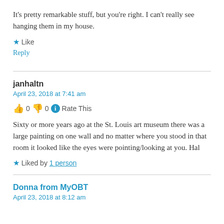It's pretty remarkable stuff, but you're right. I can't really see hanging them in my house.
★ Like
Reply
janhaltn
April 23, 2018 at 7:41 am
👍 0 👎 0 ℹ Rate This
Sixty or more years ago at the St. Louis art museum there was a large painting on one wall and no matter where you stood in that room it looked like the eyes were pointing/looking at you. Hal
★ Liked by 1 person
Donna from MyOBT
April 23, 2018 at 8:12 am